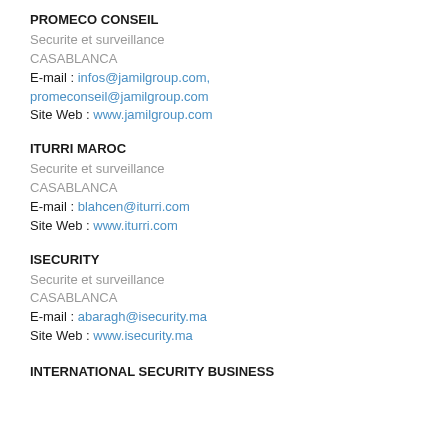PROMECO CONSEIL
Securite et surveillance
CASABLANCA
E-mail : infos@jamilgroup.com, promeconseil@jamilgroup.com
Site Web : www.jamilgroup.com
ITURRI MAROC
Securite et surveillance
CASABLANCA
E-mail : blahcen@iturri.com
Site Web : www.iturri.com
ISECURITY
Securite et surveillance
CASABLANCA
E-mail : abaragh@isecurity.ma
Site Web : www.isecurity.ma
INTERNATIONAL SECURITY BUSINESS